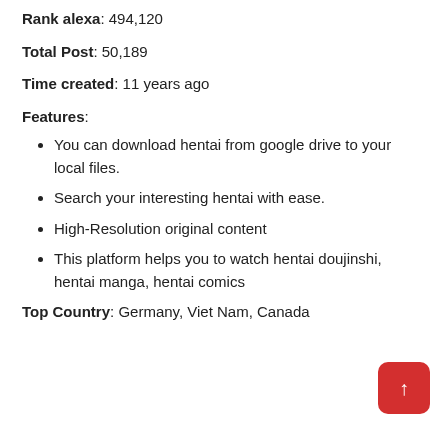Rank alexa: 494,120
Total Post: 50,189
Time created: 11 years ago
Features:
You can download hentai from google drive to your local files.
Search your interesting hentai with ease.
High-Resolution original content
This platform helps you to watch hentai doujinshi, hentai manga, hentai comics
Top Country: Germany, Viet Nam, Canada